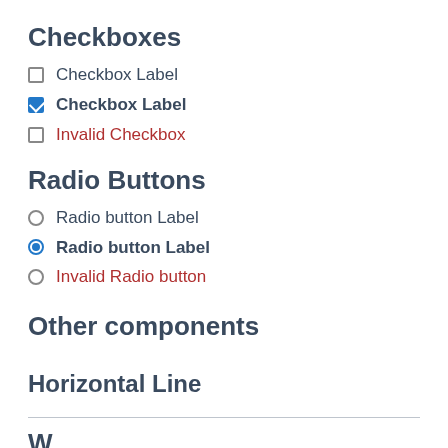Checkboxes
Checkbox Label
Checkbox Label
Invalid Checkbox
Radio Buttons
Radio button Label
Radio button Label
Invalid Radio button
Other components
Horizontal Line
W…